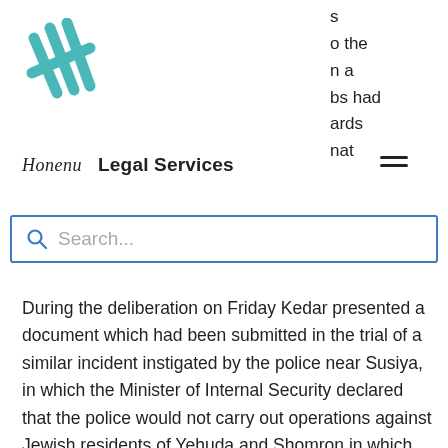[Figure (logo): Honenu organization teal/turquoise logo with overlapping checkmark/tick marks]
Honenu   Legal Services
s
o the
n a
bs had
ards
at
Search...
During the deliberation on Friday Kedar presented a document which had been submitted in the trial of a similar incident instigated by the police near Susiya, in which the Minister of Internal Security declared that the police would not carry out operations against Jewish residents of Yehuda and Shomron in which the policemen are disguised as Arabs, particularly because of the danger to security posed by such operations.